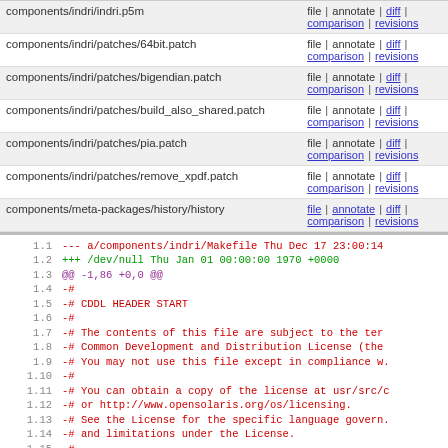| Path | Actions |
| --- | --- |
| components/indri/indri.p5m | file | annotate | diff | comparison | revisions |
| components/indri/patches/64bit.patch | file | annotate | diff | comparison | revisions |
| components/indri/patches/bigendian.patch | file | annotate | diff | comparison | revisions |
| components/indri/patches/build_also_shared.patch | file | annotate | diff | comparison | revisions |
| components/indri/patches/pia.patch | file | annotate | diff | comparison | revisions |
| components/indri/patches/remove_xpdf.patch | file | annotate | diff | comparison | revisions |
| components/meta-packages/history/history | file | annotate | diff | comparison | revisions |
1.1  --- a/components/indri/Makefile Thu Dec 17 23:00:14
1.2  +++ /dev/null   Thu Jan 01 00:00:00 1970 +0000
1.3  @@ -1,86 +0,0 @@
1.4  -#
1.5  -# CDDL HEADER START
1.6  -#
1.7  -# The contents of this file are subject to the ter
1.8  -# Common Development and Distribution License (the
1.9  -# You may not use this file except in compliance w.
1.10 -#
1.11 -# You can obtain a copy of the license at usr/src/c
1.12 -# or http://www.opensolaris.org/os/licensing.
1.13 -# See the License for the specific language govern.
1.14 -# and limitations under the License.
1.15 -#
1.16 -# When distributing Covered Code, include this CDD
1.17 -# file and include the License file at usr/src/OPE
1.18    # If applicable, add the following below this CDDL